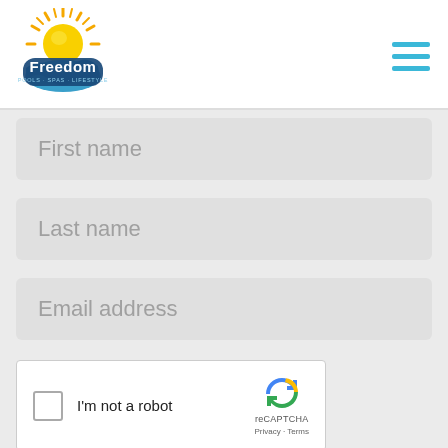[Figure (logo): Freedom Pools Spas Lifestyle logo with sun graphic]
[Figure (other): Hamburger menu icon with three horizontal cyan/blue bars]
First name
Last name
Email address
[Figure (other): reCAPTCHA widget with checkbox, 'I'm not a robot' label, reCAPTCHA logo, Privacy and Terms links]
[Figure (other): Blue submit button (partially visible at bottom)]